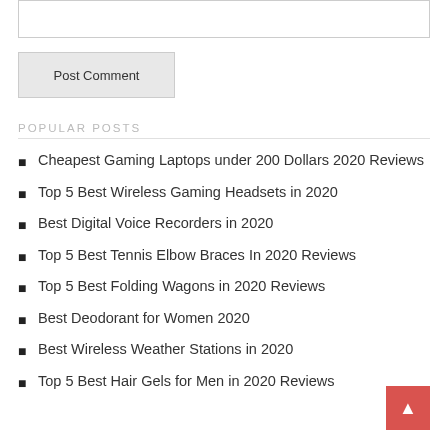[Figure (screenshot): Empty text input box at top of page]
Post Comment
POPULAR POSTS
Cheapest Gaming Laptops under 200 Dollars 2020 Reviews
Top 5 Best Wireless Gaming Headsets in 2020
Best Digital Voice Recorders in 2020
Top 5 Best Tennis Elbow Braces In 2020 Reviews
Top 5 Best Folding Wagons in 2020 Reviews
Best Deodorant for Women 2020
Best Wireless Weather Stations in 2020
Top 5 Best Hair Gels for Men in 2020 Reviews